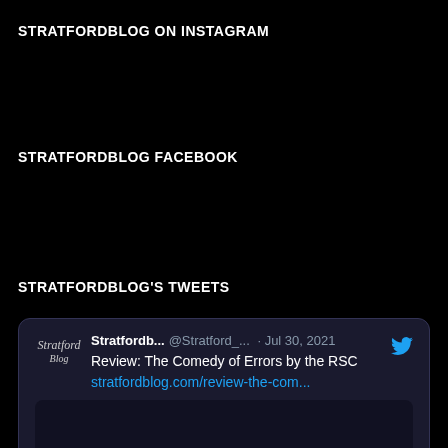STRATFORDBLOG ON INSTAGRAM
STRATFORDBLOG FACEBOOK
STRATFORDBLOG'S TWEETS
[Figure (screenshot): Tweet card from @Stratford_ (Stratfordb...) dated Jul 30, 2021, showing text 'Review: The Comedy of Errors by the RSC' with link stratfordblog.com/review-the-com... and a dark image placeholder below. Twitter bird icon in top right of card.]